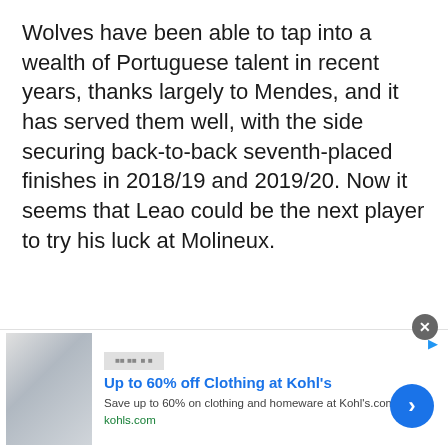Wolves have been able to tap into a wealth of Portuguese talent in recent years, thanks largely to Mendes, and it has served them well, with the side securing back-to-back seventh-placed finishes in 2018/19 and 2019/20. Now it seems that Leao could be the next player to try his luck at Molineux.
[Figure (other): Advertisement banner for Kohl's: 'Up to 60% off Clothing at Kohl's'. Save up to 60% on clothing and homeware at Kohls.com. Shows a photo of people and a blue call-to-action arrow button.]